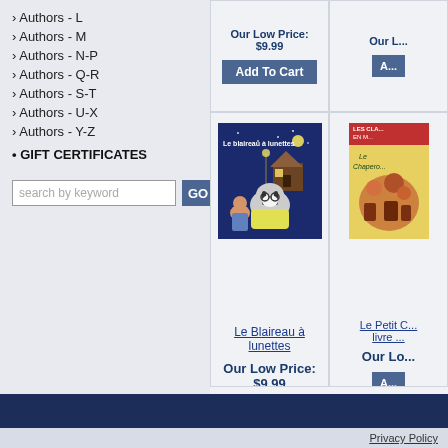Authors - L
Authors - M
Authors - N-P
Authors - Q-R
Authors - S-T
Authors - U-X
Authors - Y-Z
GIFT CERTIFICATES
Our Low Price: $9.99
Add To Cart
[Figure (photo): Book cover: Le blaireau à lunettes, showing a badger wearing glasses with a child at night]
Le Blaireau à lunettes
Our Low Price: $9.99
Add To Cart
Le Petit C... livre ...
Our Lo...
Add To Cart (partial)
Recently Viewed Items
Privacy Policy